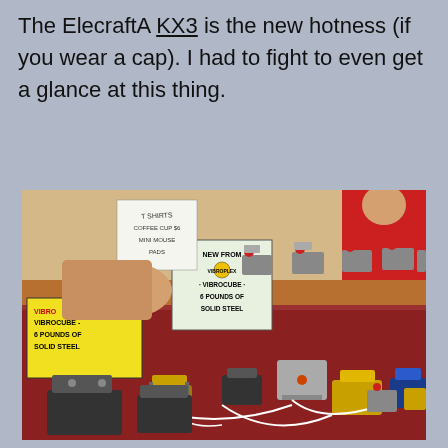The ElecraftA KX3 is the new hotness (if you wear a cap). I had to fight to even get a glance at this thing.
[Figure (photo): A trade show display table covered with a red cloth, showing multiple Vibroplex morse code keys and paddles including Vibrocube models (6 pounds of solid steel). A yellow sign reads 'NEW FROM VIBROPLEX · VIBROCUBE · 6 POUNDS OF SOLID STEEL'. Various telegraph keys in gold, black, blue, and silver colors are displayed on the table. A person in a red shirt is visible in the background.]